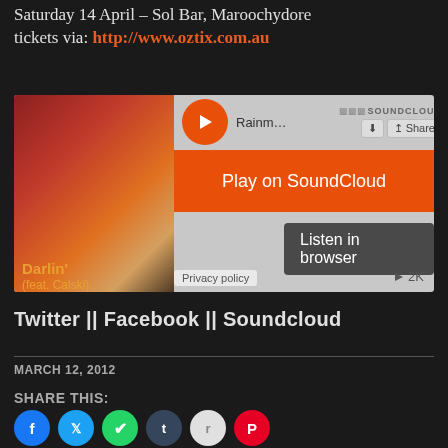Saturday 14 April – Sol Bar, Maroochydore
tickets via: http://www.oztix.com.au
[Figure (screenshot): SoundCloud embedded player showing 'Rainm...' track with 'Darlin' (feat. Calski)' album art. Contains Play on SoundCloud button and Listen in browser tooltip. Shows 2K plays. Privacy policy link visible.]
Twitter || Facebook || Soundcloud
MARCH 12, 2012
SHARE THIS:
[Figure (infographic): Row of social share icon circles: Facebook (blue), Twitter (light blue), WhatsApp (green), Tumblr (dark blue), Reddit (light grey), Pinterest (red)]